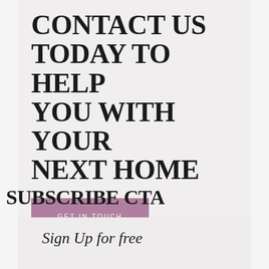CONTACT US TODAY TO HELP YOU WITH YOUR NEXT HOME
GET IN TOUCH
SUBSCRIBE CTA
Sign Up for free